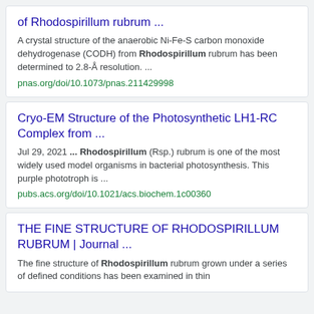of Rhodospirillum rubrum ...
A crystal structure of the anaerobic Ni-Fe-S carbon monoxide dehydrogenase (CODH) from Rhodospirillum rubrum has been determined to 2.8-Å resolution. ...
pnas.org/doi/10.1073/pnas.211429998
Cryo-EM Structure of the Photosynthetic LH1-RC Complex from ...
Jul 29, 2021 ... Rhodospirillum (Rsp.) rubrum is one of the most widely used model organisms in bacterial photosynthesis. This purple phototroph is ...
pubs.acs.org/doi/10.1021/acs.biochem.1c00360
THE FINE STRUCTURE OF RHODOSPIRILLUM RUBRUM | Journal ...
The fine structure of Rhodospirillum rubrum grown under a series of defined conditions has been examined in thin